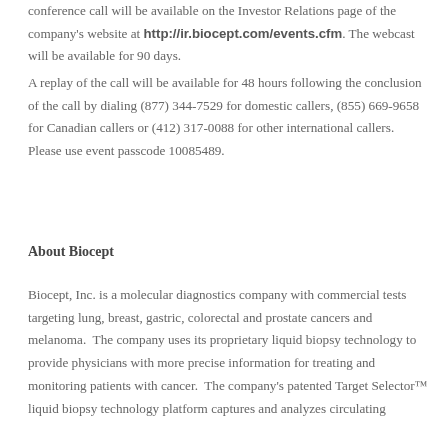conference call will be available on the Investor Relations page of the company's website at http://ir.biocept.com/events.cfm. The webcast will be available for 90 days.
A replay of the call will be available for 48 hours following the conclusion of the call by dialing (877) 344-7529 for domestic callers, (855) 669-9658 for Canadian callers or (412) 317-0088 for other international callers.  Please use event passcode 10085489.
About Biocept
Biocept, Inc. is a molecular diagnostics company with commercial tests targeting lung, breast, gastric, colorectal and prostate cancers and melanoma.  The company uses its proprietary liquid biopsy technology to provide physicians with more precise information for treating and monitoring patients with cancer.  The company's patented Target Selector™ liquid biopsy technology platform captures and analyzes circulating